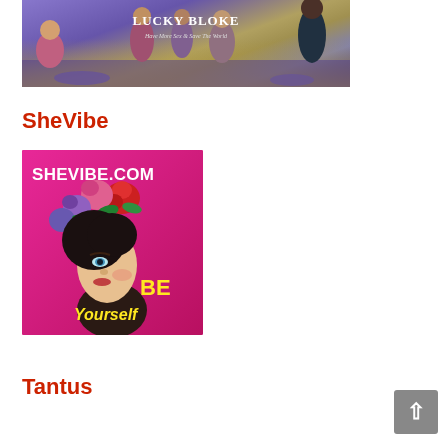[Figure (photo): Lucky Bloke banner image showing a social party scene with people in colorful attire, text overlay reading 'LUCKY BLOKE' and tagline 'Have More Sex & Save The World']
SheVibe
[Figure (logo): SheVibe.com logo on pink/magenta background featuring an illustrated woman with flowers in her hair and text 'SHEVIBE.COM' and 'Be Yourself']
Tantus